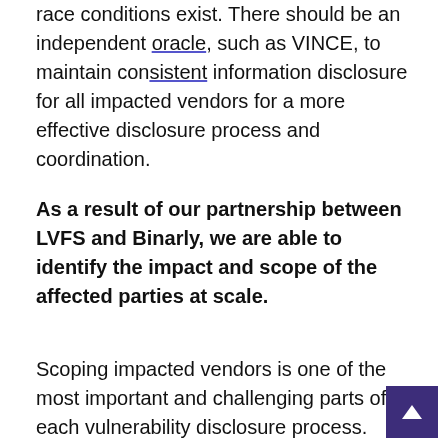race conditions exist. There should be an independent oracle, such as VINCE, to maintain consistent information disclosure for all impacted vendors for a more effective disclosure process and coordination.
As a result of our partnership between LVFS and Binarly, we are able to identify the impact and scope of the affected parties at scale.
Scoping impacted vendors is one of the most important and challenging parts of each vulnerability disclosure process. That's another reason why we developed the EwlJust rule format to detect vulnerable code